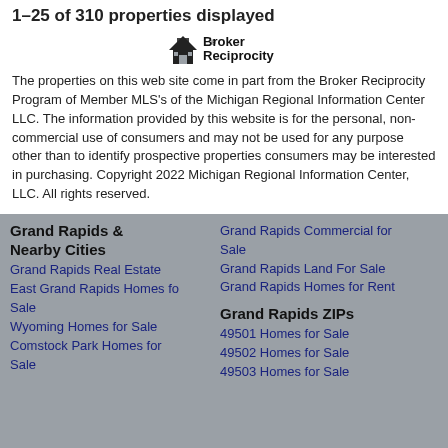1–25 of 310 properties displayed
[Figure (logo): Broker Reciprocity logo with house icon and text]
The properties on this web site come in part from the Broker Reciprocity Program of Member MLS's of the Michigan Regional Information Center LLC. The information provided by this website is for the personal, non-commercial use of consumers and may not be used for any purpose other than to identify prospective properties consumers may be interested in purchasing. Copyright 2022 Michigan Regional Information Center, LLC. All rights reserved.
Grand Rapids & Nearby Cities
Grand Rapids Real Estate
East Grand Rapids Homes fo Sale
Wyoming Homes for Sale
Comstock Park Homes for Sale
Grand Rapids Commercial for Sale
Grand Rapids Land For Sale
Grand Rapids Homes for Rent
Grand Rapids ZIPs
49501 Homes for Sale
49502 Homes for Sale
49503 Homes for Sale